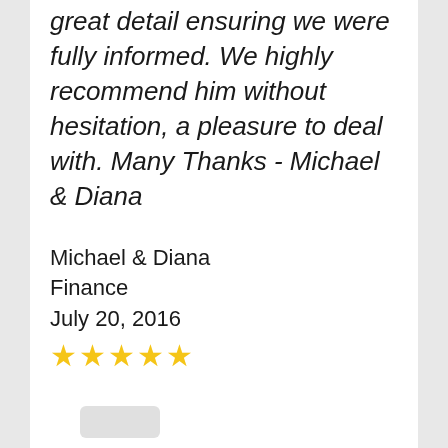great detail ensuring we were fully informed. We highly recommend him without hesitation, a pleasure to deal with. Many Thanks - Michael & Diana
Michael & Diana
Finance
July 20, 2016
[Figure (other): Five gold/yellow star rating icons]